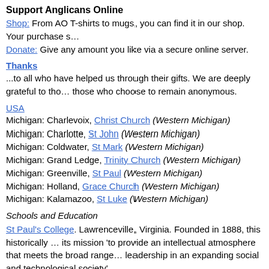Support Anglicans Online
Shop: From AO T-shirts to mugs, you can find it in our shop. Your purchase s…
Donate: Give any amount you like via a secure online server.
Thanks
...to all who have helped us through their gifts. We are deeply grateful to tho… those who choose to remain anonymous.
USA
Michigan: Charlevoix, Christ Church (Western Michigan)
Michigan: Charlotte, St John (Western Michigan)
Michigan: Coldwater, St Mark (Western Michigan)
Michigan: Grand Ledge, Trinity Church (Western Michigan)
Michigan: Greenville, St Paul (Western Michigan)
Michigan: Holland, Grace Church (Western Michigan)
Michigan: Kalamazoo, St Luke (Western Michigan)
Schools and Education
St Paul's College. Lawrenceville, Virginia. Founded in 1888, this historically … its mission 'to provide an intellectual atmosphere that meets the broad range… leadership in an expanding social and technological society'.
Vacancies Centre
List a parish or diocesan opening for one month at AO — at no charge. Wha… service, the more useful it will become for all.
Australia: St Francis' Theological College. Academic Dean and Lectu… History.
USA: VIA Foundation ["Viviendo la Identidad Anglicana"]. Director.